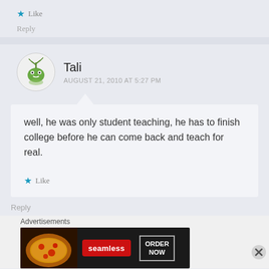Like
Reply
Tali
AUGUST 21, 2010 AT 5:27 PM
well, he was only student teaching, he has to finish college before he can come back and teach for real.
Like
Reply
Advertisements
[Figure (screenshot): Seamless food delivery advertisement banner showing pizza and 'ORDER NOW' button]